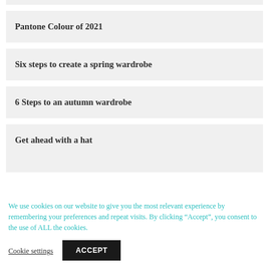Pantone Colour of 2021
Six steps to create a spring wardrobe
6 Steps to an autumn wardrobe
Get ahead with a hat
We use cookies on our website to give you the most relevant experience by remembering your preferences and repeat visits. By clicking “Accept”, you consent to the use of ALL the cookies.
Cookie settings
ACCEPT